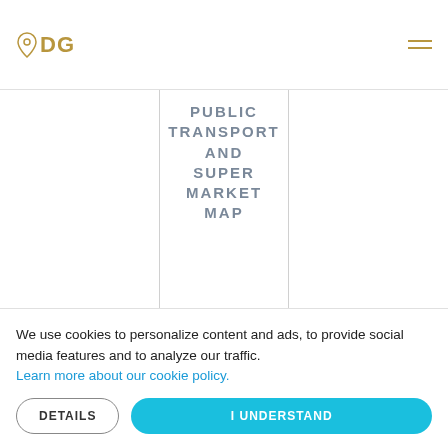DG logo and navigation menu
CLICK BELOW FOR HOTEL,
PUBLIC TRANSPORT AND SUPER MARKET MAP
We use cookies to personalize content and ads, to provide social media features and to analyze our traffic. Learn more about our cookie policy.
DETAILS | I UNDERSTAND